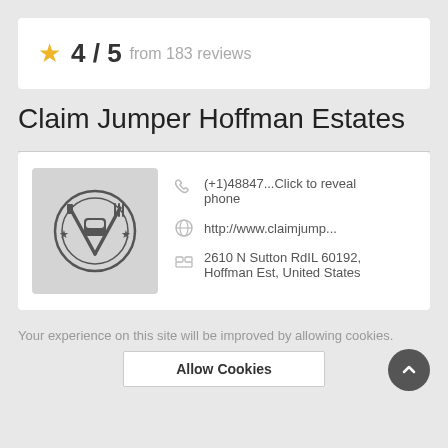★ 4 / 5 from 183 reviews
Claim Jumper Hoffman Estates
[Figure (logo): Restaurant logo with plate, crossed knife and fork, bread icon, and stars]
(+1)48847...Click to reveal phone
http://www.claimjump...
2610 N Sutton RdIL 60192, Hoffman Est, United States
Your experience on this site will be improved by allowing cookies.
Allow Cookies